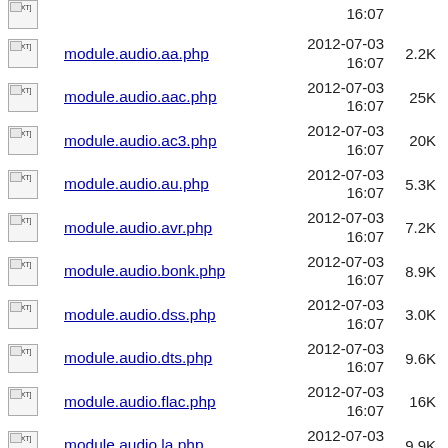[TXT] module.audio.aa.php 2012-07-03 16:07 2.2K
[TXT] module.audio.aac.php 2012-07-03 16:07 25K
[TXT] module.audio.ac3.php 2012-07-03 16:07 20K
[TXT] module.audio.au.php 2012-07-03 16:07 5.3K
[TXT] module.audio.avr.php 2012-07-03 16:07 7.2K
[TXT] module.audio.bonk.php 2012-07-03 16:07 8.9K
[TXT] module.audio.dss.php 2012-07-03 16:07 3.0K
[TXT] module.audio.dts.php 2012-07-03 16:07 9.6K
[TXT] module.audio.flac.php 2012-07-03 16:07 16K
[TXT] module.audio.la.php 2012-07-03 16:07 9.9K
[TXT] module.audio.lpac.php 2012-07-03 16:07 6.0K